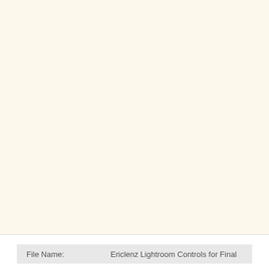[Figure (other): Large blank cream/off-white area filling most of the page, likely a blank document or image area.]
File Name:    Ericlenz Lightroom Controls for Final